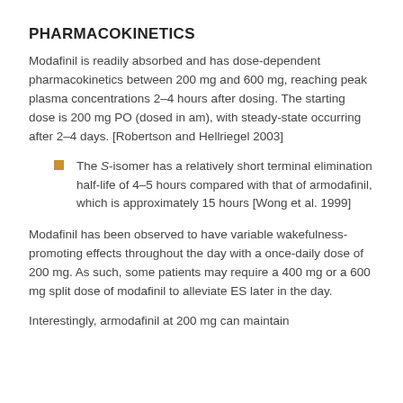PHARMACOKINETICS
Modafinil is readily absorbed and has dose-dependent pharmacokinetics between 200 mg and 600 mg, reaching peak plasma concentrations 2–4 hours after dosing. The starting dose is 200 mg PO (dosed in am), with steady-state occurring after 2–4 days. [Robertson and Hellriegel 2003]
The S-isomer has a relatively short terminal elimination half-life of 4–5 hours compared with that of armodafinil, which is approximately 15 hours [Wong et al. 1999]
Modafinil has been observed to have variable wakefulness-promoting effects throughout the day with a once-daily dose of 200 mg. As such, some patients may require a 400 mg or a 600 mg split dose of modafinil to alleviate ES later in the day.
Interestingly, armodafinil at 200 mg can maintain